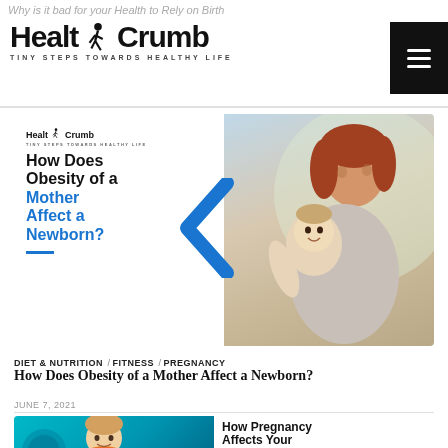Why is it bad for your Health to Rely on Birth
[Figure (logo): HealthCrumb logo with running figure icon and tagline: TINY STEPS TOWARDS HEALTHY LIFE]
[Figure (photo): Article banner image: How Does Obesity of a Mother Affect a Newborn? White left panel with bold text, blue chevron arrow, right panel with photo of mother holding smiling baby]
DIET & NUTRITION / FITNESS / PREGNANCY
How Does Obesity of a Mother Affect a Newborn?
JUNE 7, 2021
[Figure (photo): Partial thumbnail of second article: How Pregnancy Affects Your Oral Health? Teal/blue left side with woman smiling, right side with bold black text on white]